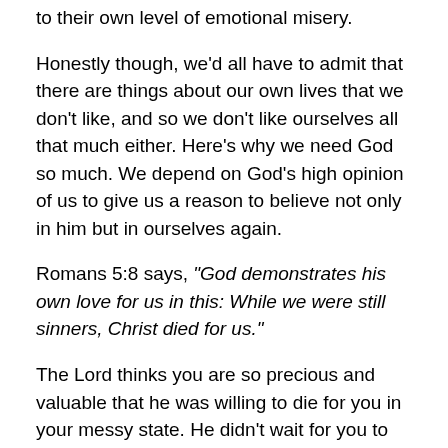to their own level of emotional misery.
Honestly though, we'd all have to admit that there are things about our own lives that we don't like, and so we don't like ourselves all that much either. Here's why we need God so much. We depend on God's high opinion of us to give us a reason to believe not only in him but in ourselves again.
Romans 5:8 says, “God demonstrates his own love for us in this: While we were still sinners, Christ died for us.”
The Lord thinks you are so precious and valuable that he was willing to die for you in your messy state. He didn't wait for you to clean yourself up first. He died so you could belong to him. If He thinks you’re valuable, then you must be! If he thinks you’re worth dying for, then you must be precious indeed. If he sends His Holy Spirit to live within